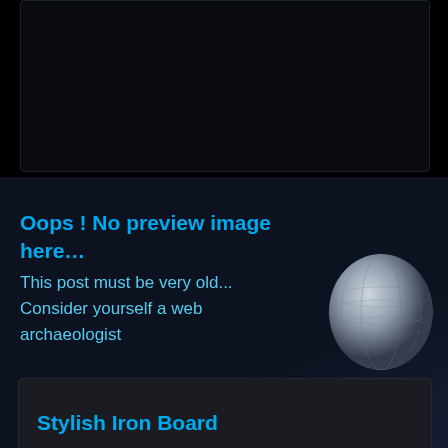[Figure (screenshot): Dark mobile app card with black background at top of page]
[Figure (screenshot): Dark card with cyan bold text: 'Oops ! No preview image here...' followed by 'This post must be very old... Consider yourself a web archaeologist' and a 3D globe graphic on the right]
Stylish Iron Board
[Figure (screenshot): Bottom partial card showing 'Oops ! No preview image here...' and 'This post must be very old...' in cyan on dark background]